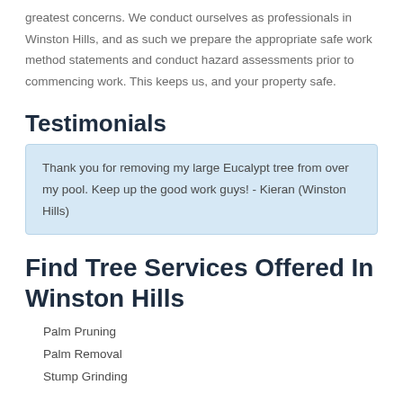greatest concerns. We conduct ourselves as professionals in Winston Hills, and as such we prepare the appropriate safe work method statements and conduct hazard assessments prior to commencing work. This keeps us, and your property safe.
Testimonials
Thank you for removing my large Eucalypt tree from over my pool. Keep up the good work guys! - Kieran (Winston Hills)
Find Tree Services Offered In Winston Hills
Palm Pruning
Palm Removal
Stump Grinding